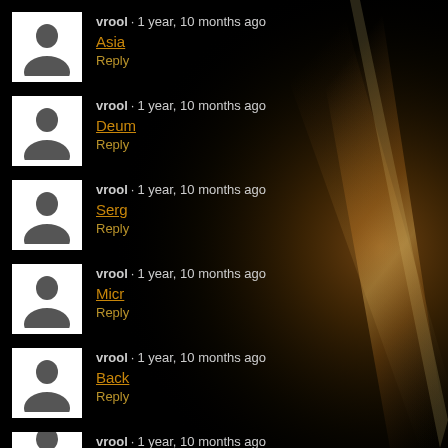vrool · 1 year, 10 months ago
Asia
Reply
vrool · 1 year, 10 months ago
Deum
Reply
vrool · 1 year, 10 months ago
Serg
Reply
vrool · 1 year, 10 months ago
Micr
Reply
vrool · 1 year, 10 months ago
Back
Reply
vrool · 1 year, 10 months ago